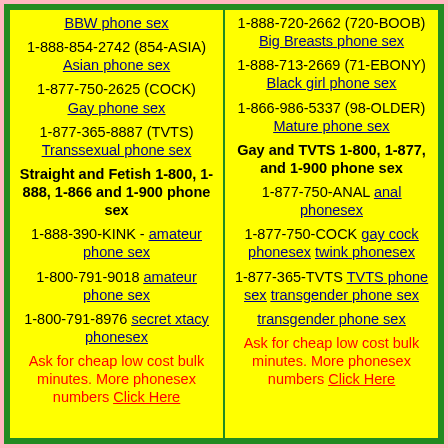BBW phone sex
1-888-854-2742 (854-ASIA)
Asian phone sex
1-877-750-2625 (COCK)
Gay phone sex
1-877-365-8887 (TVTS)
Transsexual phone sex
Straight and Fetish 1-800, 1-888, 1-866 and 1-900 phone sex
1-888-390-KINK - amateur phone sex
1-800-791-9018 amateur phone sex
1-800-791-8976 secret xtacy phonesex
Ask for cheap low cost bulk minutes. More phonesex numbers Click Here
1-888-720-2662 (720-BOOB)
Big Breasts phone sex
1-888-713-2669 (71-EBONY)
Black girl phone sex
1-866-986-5337 (98-OLDER)
Mature phone sex
Gay and TVTS 1-800, 1-877, and 1-900 phone sex
1-877-750-ANAL anal phonesex
1-877-750-COCK gay cock phonesex twink phonesex
1-877-365-TVTS TVTS phone sex transgender phone sex
transgender phone sex
Ask for cheap low cost bulk minutes. More phonesex numbers Click Here